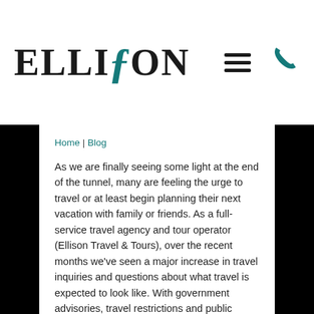[Figure (logo): Ellison Travel & Tours logo with teal stylized J in the wordmark]
Home | Blog
As we are finally seeing some light at the end of the tunnel, many are feeling the urge to travel or at least begin planning their next vacation with family or friends. As a full-service travel agency and tour operator (Ellison Travel & Tours), over the recent months we’ve seen a major increase in travel inquiries and questions about what travel is expected to look like. With government advisories, travel restrictions and public health information evolving daily,